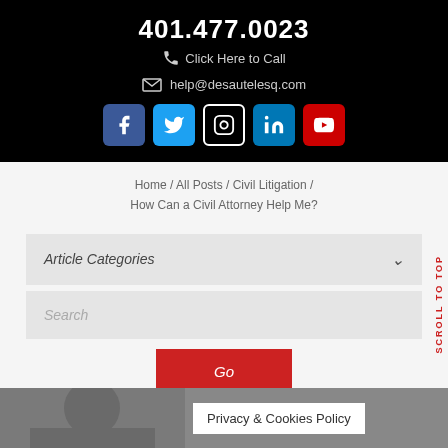401.477.0023
Click Here to Call
help@desautelesq.com
[Figure (infographic): Social media icons: Facebook, Twitter, Instagram, LinkedIn, YouTube]
Home / All Posts / Civil Litigation / How Can a Civil Attorney Help Me?
Article Categories
Search
Go
SCROLL TO TOP
Privacy & Cookies Policy